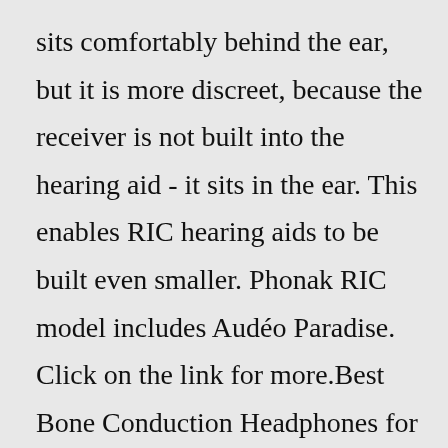sits comfortably behind the ear, but it is more discreet, because the receiver is not built into the hearing aid - it sits in the ear. This enables RIC hearing aids to be built even smaller. Phonak RIC model includes Audéo Paradise. Click on the link for more.Best Bone Conduction Headphones for Poor Hearing of 2022 5.0 AfterShokz OpenComm Buy Now On Amazon Price $159.80 Product weight 1.16 ounces Battery